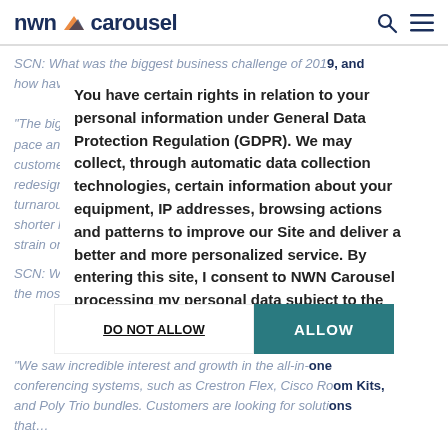nwn carousel
SCN: What was the biggest business challenge of 2019, and how have you addressed that?
You have certain rights in relation to your personal information under General Data Protection Regulation (GDPR). We may collect, through automatic data collection technologies, certain information about your equipment, IP addresses, browsing actions and patterns to improve our Site and deliver a better and more personalized service. By entering this site, I consent to NWN Carousel processing my personal data subject to the terms of use and privacy policy.
"The biggest challenges in 2019 were in keeping up with the pace and growth of the business. With a focus on enhancing customer experience, Carousel invested strategically, redesigning processes to anticipate the demand for faster turnaround times for quotes. Additionally, customers expect shorter lead time on project implementations which may put a strain on internal resources."
SCN: What vertical markets and/or technologies exhibited the most growth for you in 2019?
DO NOT ALLOW   ALLOW
"We saw incredible interest and growth in the all-in-one conferencing systems, such as Crestron Flex, Cisco Room Kits, and Poly Trio bundles. Customers are looking for solutions that…"